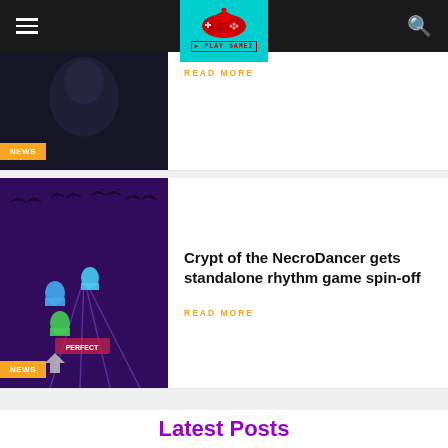PLAY GAMEZ
[Figure (screenshot): Dark thumbnail image for a news article (partially visible)]
NEWS
READ MORE
[Figure (screenshot): Crypt of the NecroDancer rhythm game screenshot with purple background, bats, ghosts, and guitar hero style gameplay]
NEWS
Crypt of the NecroDancer gets standalone rhythm game spin-off
READ MORE
Latest Posts